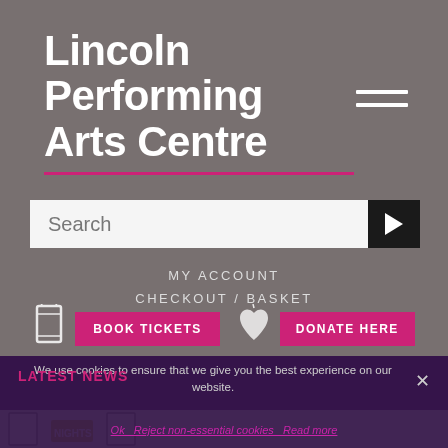Lincoln Performing Arts Centre
[Figure (screenshot): Hamburger/menu icon with three horizontal white lines]
[Figure (screenshot): Search bar with placeholder text 'Search' and a dark right-arrow button]
MY ACCOUNT
CHECKOUT / BASKET
[Figure (screenshot): Ticket icon with BOOK TICKETS pink button and heart icon with DONATE HERE pink button]
We use cookies to ensure that we give you the best experience on our website.
LATEST NEWS
Ok   Reject non-essential cookies   Read more